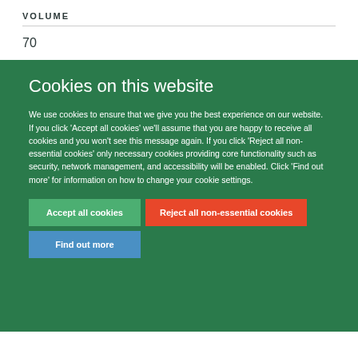VOLUME
70
Cookies on this website
We use cookies to ensure that we give you the best experience on our website. If you click 'Accept all cookies' we'll assume that you are happy to receive all cookies and you won't see this message again. If you click 'Reject all non-essential cookies' only necessary cookies providing core functionality such as security, network management, and accessibility will be enabled. Click 'Find out more' for information on how to change your cookie settings.
Accept all cookies
Reject all non-essential cookies
Find out more